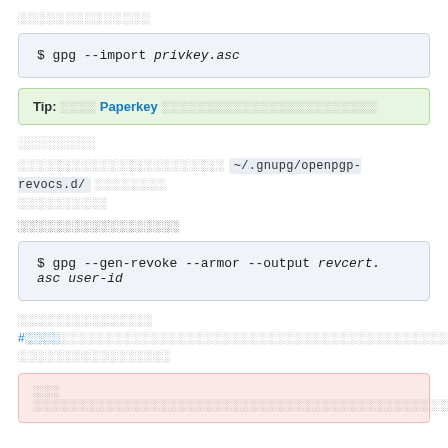░░░░░░░░░░░░░░
Tip: ░░░░ Paperkey ░░░░░░░░░░░░░░░░░░░░░░
░░░░░░░░
░░░░░░░░░░░░░░░░░░░░░░ ~/.gnupg/openpgp-revocs.d/ ░░░░░░░░ ░░░░░░░░░░
░░░░░░░░░░░░░░░░░░
░░░░░░░░░░░░░░░ #░░░░░░░░░░░░░░░░░░░░░░░░░░░░░░░░░░░░░░░░░░░░░░░░░░ ░░░░░░░░░░░░░░░░░
░░░ ░░░░░░░░░░░░░░░░░░░░░░░░░░░░░░░░░░░░░░░░░░░░░░░░░░░░